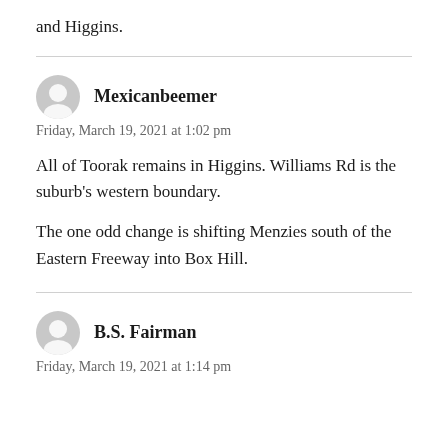and Higgins.
Mexicanbeemer
Friday, March 19, 2021 at 1:02 pm
All of Toorak remains in Higgins. Williams Rd is the suburb's western boundary.
The one odd change is shifting Menzies south of the Eastern Freeway into Box Hill.
B.S. Fairman
Friday, March 19, 2021 at 1:14 pm